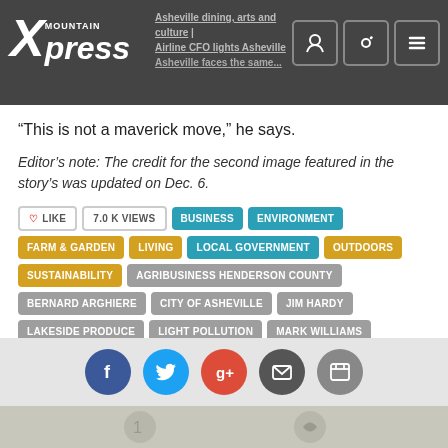Mountain Xpress
“This is not a maverick move,” he says.
Editor’s note: The credit for the second image featured in the story’s was updated on Dec. 6.
LIKE | 7.0 K VIEWS | BUSINESS | ENVIRONMENT | FARM & GARDEN | LIVING | LOCAL GOVERNMENT | OUTDOORS | SUSTAINABILITY | AGRIBUSINESS HENDERSON COUNTY | BERNARD ARGHIERE | CITY OF ASHEVILLE | JIM HARDY | LAKESIDE PRODUCE | LIGHT POLLUTION | MARK WILLIAMS | MILLS RIVER | STREETLIGHTS